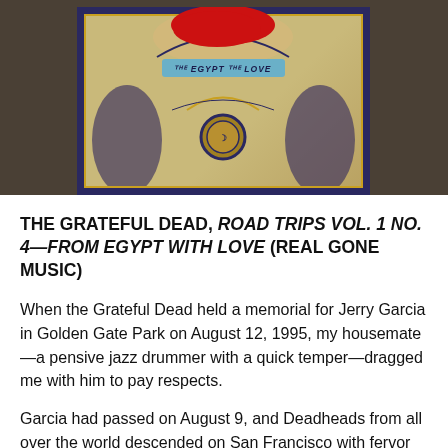[Figure (illustration): Album cover for The Grateful Dead Road Trips Vol. 1 No. 4 - From Egypt with Love, showing ornate Art Nouveau style design with blue border, gold decorations, a medallion, and a red shape at the top partially obscuring a figure. Set against a dark olive/brown background.]
THE GRATEFUL DEAD, ROAD TRIPS VOL. 1 NO. 4—FROM EGYPT WITH LOVE (REAL GONE MUSIC)
When the Grateful Dead held a memorial for Jerry Garcia in Golden Gate Park on August 12, 1995, my housemate—a pensive jazz drummer with a quick temper—dragged me with him to pay respects.
Garcia had passed on August 9, and Deadheads from all over the world descended on San Francisco with fervor and intent. 710 Ashbury Street, the three-story Victorian-style row house